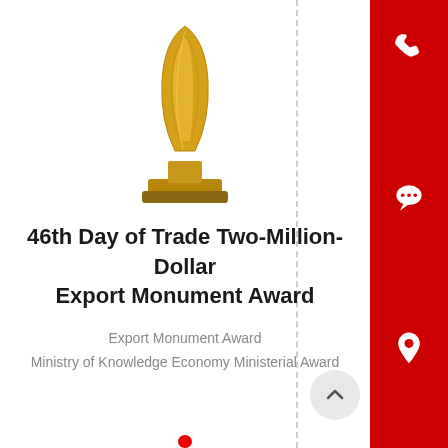[Figure (photo): Gold trophy award statue — a stylized curved golden monument on a base]
46th Day of Trade Two-Million-Dollar Export Monument Award
Export Monument Award
Ministry of Knowledge Economy Ministerial Award